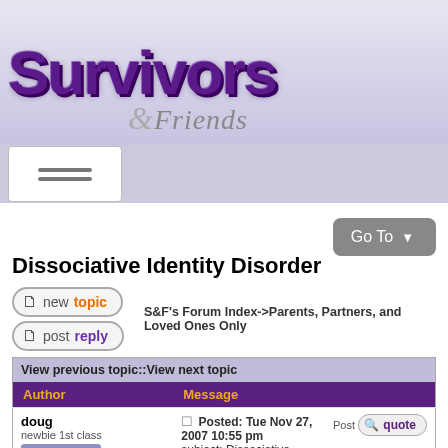[Figure (logo): Survivors & Friends website logo with large purple 3D text 'Survivors' and cursive '&Friends' below]
[Figure (other): Navigation bar with hamburger menu icon (three horizontal lines) in a white box]
[Figure (other): Go To dropdown button (gray rounded rectangle)]
Dissociative Identity Disorder
[Figure (other): New topic button (pill-shaped outline with page icon and 'newtopic' text)]
S&F's Forum Index->Parents, Partners, and Loved Ones Only
[Figure (other): Post reply button (pill-shaped outline with page icon and 'postreply' text)]
| Author | Message |
| --- | --- |
| View previous topic::View next topic |  |
| doug
newbie 1st class | Posted: Tue Nov 27, 2007 10:55 pm
subject: Dissociative Identity Disorder |